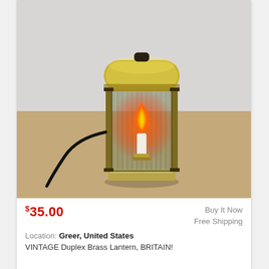[Figure (photo): Vintage Duplex Brass Lantern from Britain, a square brass and glass lantern lamp with a rounded top, glass sides, a candle-style bulb inside glowing orange/red, sitting on a brown surface against a white/grey background. A black cord is visible.]
$35.00
Buy It Now
Free Shipping
Location: Greer, United States
VINTAGE Duplex Brass Lantern, BRITAIN!